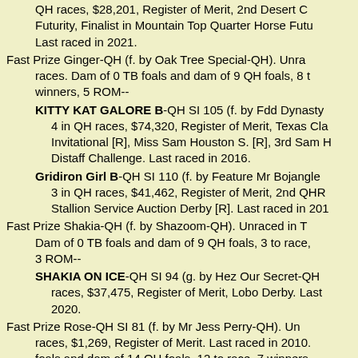QH races, $28,201, Register of Merit, 2nd Desert C... Futurity, Finalist in Mountain Top Quarter Horse Futu... Last raced in 2021.
Fast Prize Ginger-QH (f. by Oak Tree Special-QH). Unra... races. Dam of 0 TB foals and dam of 9 QH foals, 8 t... winners, 5 ROM--
KITTY KAT GALORE B-QH SI 105 (f. by Fdd Dynasty... 4 in QH races, $74,320, Register of Merit, Texas Cla... Invitational [R], Miss Sam Houston S. [R], 3rd Sam H... Distaff Challenge. Last raced in 2016.
Gridiron Girl B-QH SI 110 (f. by Feature Mr Bojangle... 3 in QH races, $41,462, Register of Merit, 2nd QHR... Stallion Service Auction Derby [R]. Last raced in 201...
Fast Prize Shakia-QH (f. by Shazoom-QH). Unraced in T... Dam of 0 TB foals and dam of 9 QH foals, 3 to race,... 3 ROM--
SHAKIA ON ICE-QH SI 94 (g. by Hez Our Secret-QH... races, $37,475, Register of Merit, Lobo Derby. Last... 2020.
Fast Prize Rose-QH SI 81 (f. by Mr Jess Perry-QH). Un... races, $1,269, Register of Merit. Last raced in 2010.... foals and dam of 14 QH foals, 12 to race, 7 winners,...
DONT TEMP ME-QH SI 101 (c. by Tempting Dash-QH... races, $53,402, Register of Merit, Old South Futurity... in Firecracker Futurity-G2. Last raced in 2019.
HEZA FAST DASH-QH SI 100 (c. by Hez Fast M... QH...